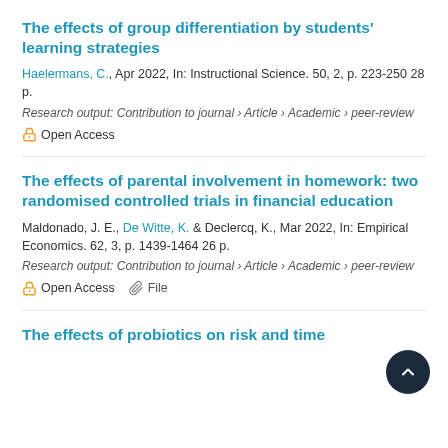The effects of group differentiation by students' learning strategies
Haelermans, C., Apr 2022, In: Instructional Science. 50, 2, p. 223-250 28 p.
Research output: Contribution to journal › Article › Academic › peer-review
🔓 Open Access
The effects of parental involvement in homework: two randomised controlled trials in financial education
Maldonado, J. E., De Witte, K. & Declercq, K., Mar 2022, In: Empirical Economics. 62, 3, p. 1439-1464 26 p.
Research output: Contribution to journal › Article › Academic › peer-review
🔓 Open Access 📎 File
The effects of probiotics on risk and time